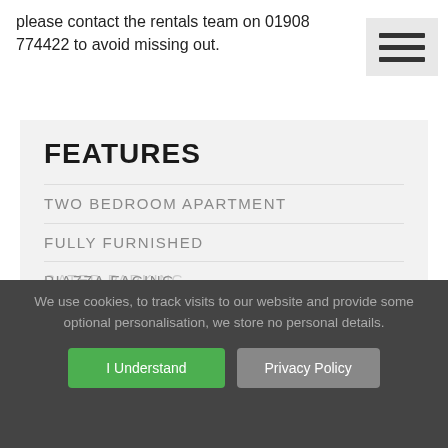please contact the rentals team on 01908 774422 to avoid missing out.
FEATURES
TWO BEDROOM APARTMENT
FULLY FURNISHED
PIAZZA FACING
EN SUITE TO MASTER
GATED PARKING
We use cookies, to track visits to our website and provide some optional personalisation, we store no personal details.
I Understand
Privacy Policy